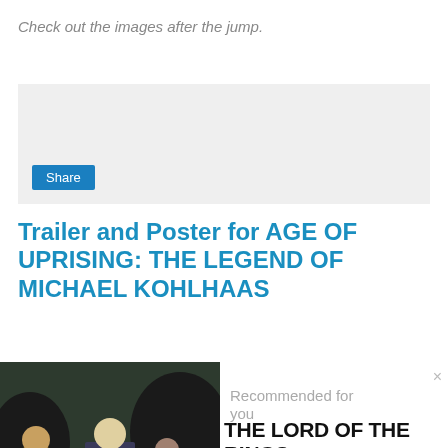Check out the images after the jump.
[Figure (screenshot): Gray share widget box with a blue Share button]
Trailer and Poster for AGE OF UPRISING: THE LEGEND OF MICHAEL KOHLHAAS
[Figure (photo): Movie still showing three actors in medieval fantasy costumes standing outdoors]
Recommended for you
THE LORD OF THE RINGS...
entertainment factor.blogspot.com
[Figure (logo): AddThis button with red plus icon]